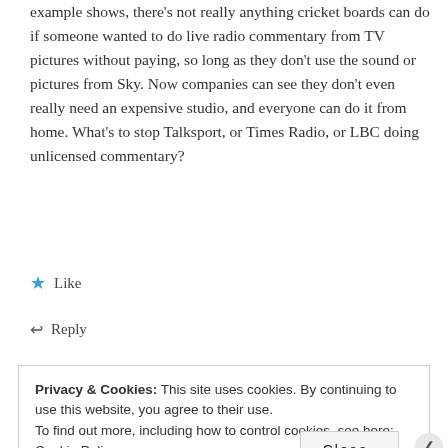example shows, there's not really anything cricket boards can do if someone wanted to do live radio commentary from TV pictures without paying, so long as they don't use the sound or pictures from Sky. Now companies can see they don't even really need an expensive studio, and everyone can do it from home. What's to stop Talksport, or Times Radio, or LBC doing unlicensed commentary?
Like
Reply
Privacy & Cookies: This site uses cookies. By continuing to use this website, you agree to their use.
To find out more, including how to control cookies, see here: Cookie Policy
Close and accept